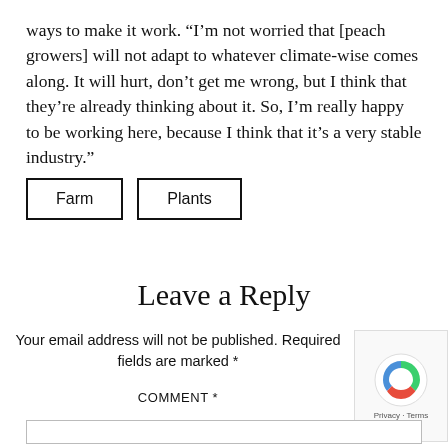ways to make it work. “I’m not worried that [peach growers] will not adapt to whatever climate-wise comes along. It will hurt, don’t get me wrong, but I think that they’re already thinking about it. So, I’m really happy to be working here, because I think that it’s a very stable industry.”
Farm
Plants
Leave a Reply
Your email address will not be published. Required fields are marked *
COMMENT *